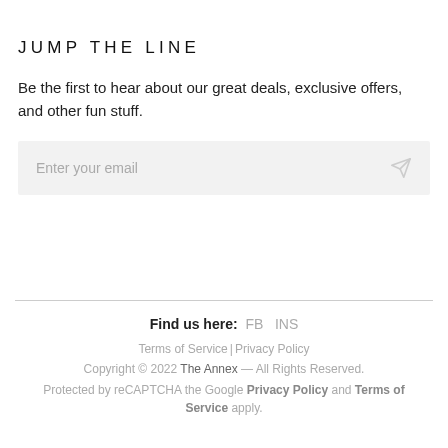JUMP THE LINE
Be the first to hear about our great deals, exclusive offers, and other fun stuff.
Enter your email
Find us here: FB INS
Terms of Service | Privacy Policy
Copyright © 2022 The Annex — All Rights Reserved.
Protected by reCAPTCHA the Google Privacy Policy and Terms of Service apply.